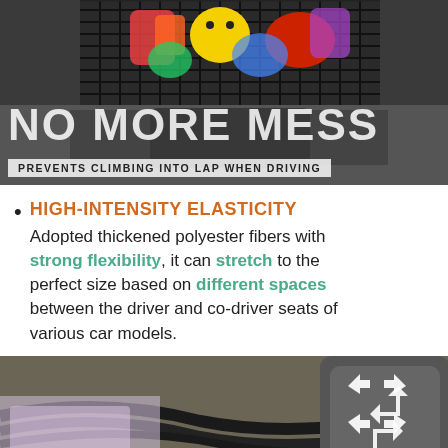[Figure (photo): Car seat mesh net organizer filled with colorful toys and items, with text overlay 'NO MORE MESS' and subtitle 'PREVENTS CLIMBING INTO LAP WHEN DRIVING']
HIGH-INTENSITY ELASTICITY
Adopted thickened polyester fibers with strong flexibility, it can stretch to the perfect size based on different spaces between the driver and co-driver seats of various car models.
[Figure (photo): Close-up photo of car seat elastic net organizer showing stretch capability with expand icon in corner]